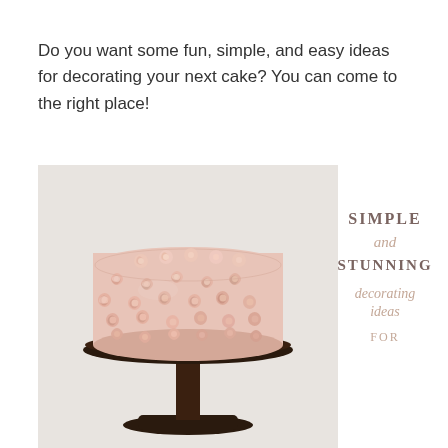Do you want some fun, simple, and easy ideas for decorating your next cake? You can come to the right place!
[Figure (photo): A pink rosette-decorated cake on a dark brown pedestal cake stand against a light gray background]
SIMPLE and STUNNING decorating ideas FOR